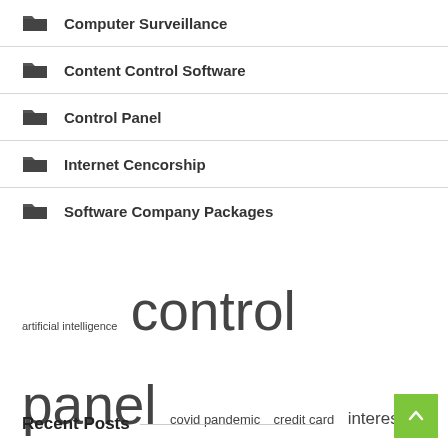Computer Surveillance
Content Control Software
Control Panel
Internet Cencorship
Software Company Packages
artificial intelligence  control panel  covid pandemic  credit card  interest rates  law enforcement  long term  north america  operating system  press release  real time  short term  student loans  united states  vice president
Recent Posts